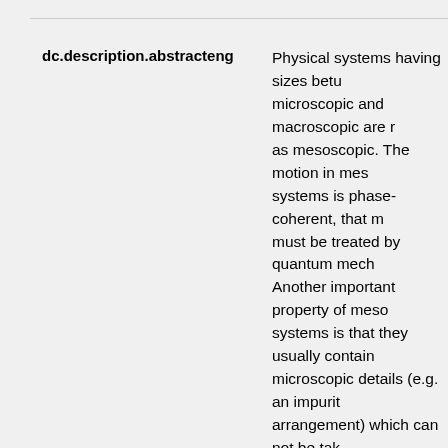dc.description.abstracteng
Physical systems having sizes between microscopic and macroscopic are referred to as mesoscopic. The motion in mesoscopic systems is phase-coherent, that means it must be treated by quantum mechanics. Another important property of mesoscopic systems is that they usually contain microscopic details (e.g. an impurity arrangement) which can not be taken into account exactly. Therefore one chooses a statistical approach considering an ensemble of systems having different microscopic configurations but the same macroscopic parameters. The rapid development of technology of fabrication of small electronic structures, having dimensions from tens of nanometers to hundreds of microns, allows now to study mesoscopic systems experimentally.In experiments or measurements one deals not with isolated, closed, but with open systems. The way to describe an open system in